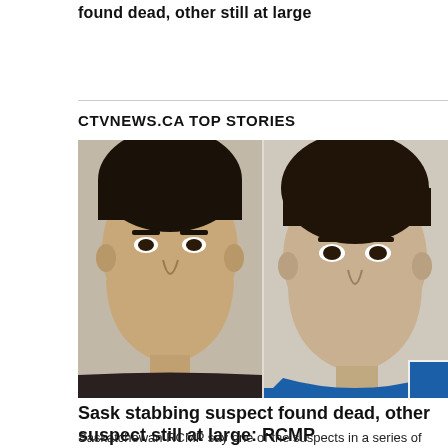found dead, other still at large
CTVNEWS.CA TOP STORIES
[Figure (photo): Mugshot-style photo of two male suspects side by side. Left person has short dark hair and a serious expression; right person has short dark hair, a broader face, and is wearing a blue shirt. A small blue rectangular element appears in the bottom right corner of the combined image.]
Sask stabbing suspect found dead, other suspect still at large: RCMP
Saskatchewan RCMP say one of the suspects in a series of stabbing attacks that left 10 dead and 18 injured has